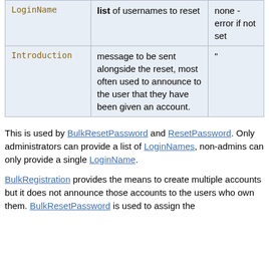| LoginName | list of usernames to reset | none - error if not set |
| Introduction | message to be sent alongside the reset, most often used to announce to the user that they have been given an account. | " |
This is used by BulkResetPassword and ResetPassword. Only administrators can provide a list of LoginNames, non-admins can only provide a single LoginName.
BulkRegistration provides the means to create multiple accounts but it does not announce those accounts to the users who own them. BulkResetPassword is used to assign the